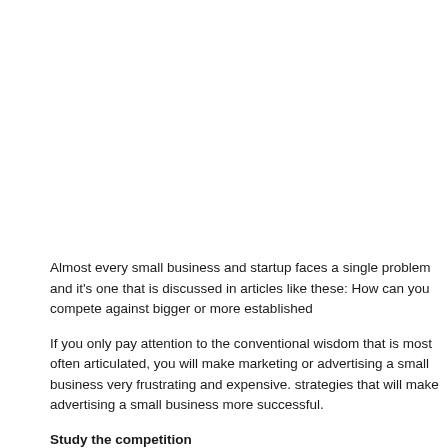Almost every small business and startup faces a single problem and it's one that is discussed in articles like these: How can you compete against bigger or more established
If you only pay attention to the conventional wisdom that is most often articulated, you will make marketing or advertising a small business very frustrating and expensive. strategies that will make advertising a small business more successful.
Study the competition
The first thing you need to do is to discover where advertising a small business know where your competition is focusing its marketing efforts and judge the